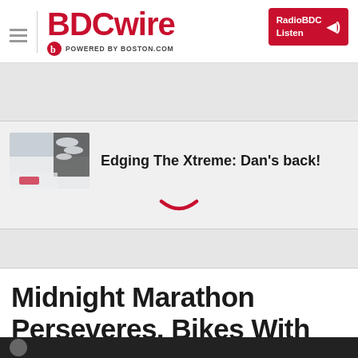BDCwire — POWERED BY BOSTON.COM
[Figure (screenshot): Article thumbnail: snowy winter outdoor scene]
Edging The Xtreme: Dan's back!
Midnight Marathon Perseveres, Bikes With Collaborative Energy